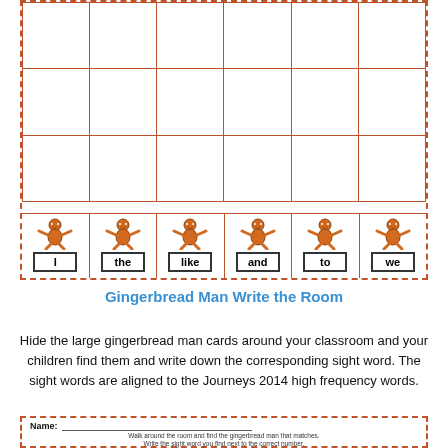[Figure (illustration): A grid/table worksheet with dashed orange border containing 3 rows of 6 columns for writing, and a bottom row of 6 gingerbread man cards with sight words: I, the, like, and, to, we]
Gingerbread Man Write the Room
Hide the large gingerbread man cards around your classroom and your children find them and write down the corresponding sight word. The sight words are aligned to the Journeys 2014 high frequency words.
[Figure (illustration): Bottom portion of a student worksheet with dashed orange border showing Name line and instructions: Walk around the room and find the gingerbread man that matches. Write the sight word you find next to the correct number.]